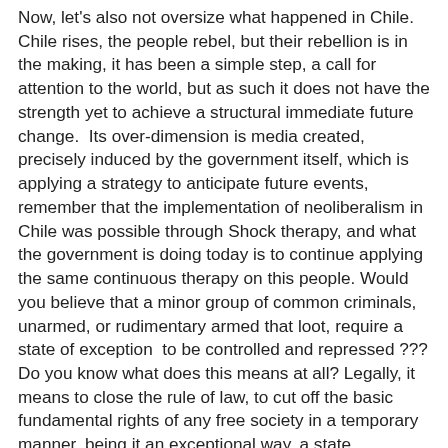Now, let's also not oversize what happened in Chile. Chile rises, the people rebel, but their rebellion is in the making, it has been a simple step, a call for attention to the world, but as such it does not have the strength yet to achieve a structural immediate future change.  Its over-dimension is media created, precisely induced by the government itself, which is applying a strategy to anticipate future events, remember that the implementation of neoliberalism in Chile was possible through Shock therapy, and what the government is doing today is to continue applying the same continuous therapy on this people. Would you believe that a minor group of common criminals, unarmed, or rudimentary armed that loot, require a state of exception  to be controlled and repressed ??? Do you know what does this means at all? Legally, it means to close the rule of law, to cut off the basic fundamental rights of any free society in a temporary manner, being it an exceptional way, a state supposedly in extreme concussion. Now, some looting, some pans, and a mobilization that can not be called massive, does it justify it?  curfew being required ???, or the use of military men with war rifles and tanks ?????, is it just not true …… it is more than clear, that the pantomime Government of the democracy that Chile has, is not  worried at all about the looting, nor the common crime, that, the use of civil